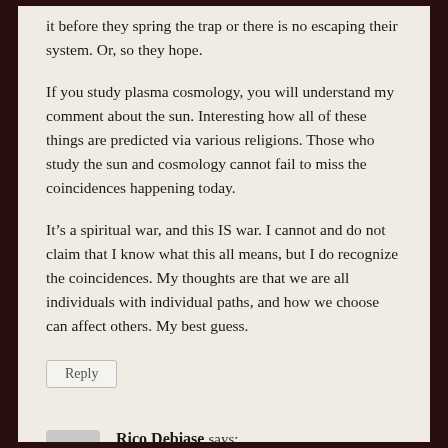it before they spring the trap or there is no escaping their system. Or, so they hope.
If you study plasma cosmology, you will understand my comment about the sun. Interesting how all of these things are predicted via various religions. Those who study the sun and cosmology cannot fail to miss the coincidences happening today.
It’s a spiritual war, and this IS war. I cannot and do not claim that I know what this all means, but I do recognize the coincidences. My thoughts are that we are all individuals with individual paths, and how we choose can affect others. My best guess.
Reply
Rico Debiase says:
September 9, 2021 at 1:40 pm
I agree that many are clamoring due to FEAR